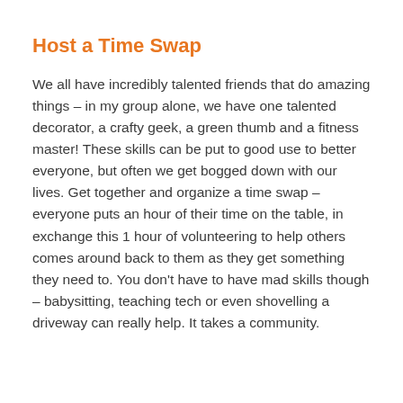Host a Time Swap
We all have incredibly talented friends that do amazing things – in my group alone, we have one talented decorator, a crafty geek, a green thumb and a fitness master! These skills can be put to good use to better everyone, but often we get bogged down with our lives. Get together and organize a time swap – everyone puts an hour of their time on the table, in exchange this 1 hour of volunteering to help others comes around back to them as they get something they need to. You don't have to have mad skills though – babysitting, teaching tech or even shovelling a driveway can really help. It takes a community.